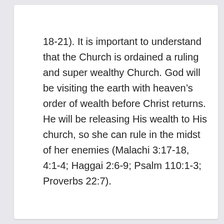18-21). It is important to understand that the Church is ordained a ruling and super wealthy Church. God will be visiting the earth with heaven’s order of wealth before Christ returns. He will be releasing His wealth to His church, so she can rule in the midst of her enemies (Malachi 3:17-18, 4:1-4; Haggai 2:6-9; Psalm 110:1-3; Proverbs 22:7).